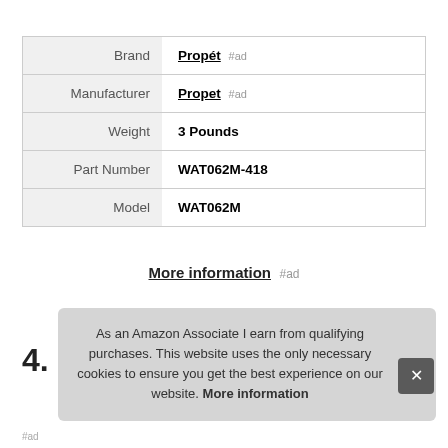|  |  |
| --- | --- |
| Brand | Propét #ad |
| Manufacturer | Propet #ad |
| Weight | 3 Pounds |
| Part Number | WAT062M-418 |
| Model | WAT062M |
More information #ad
4.
As an Amazon Associate I earn from qualifying purchases. This website uses the only necessary cookies to ensure you get the best experience on our website. More information
#ad